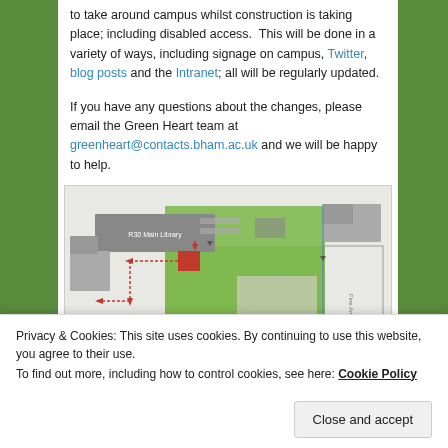to take around campus whilst construction is taking place; including disabled access. This will be done in a variety of ways, including signage on campus, Twitter, blog posts and the Intranet; all will be regularly updated.
If you have any questions about the changes, please email the Green Heart team at greenheart@contacts.bham.ac.uk and we will be happy to help.
[Figure (map): Campus map showing R30 Main Library and Arts Building areas with dotted red path/arrows indicating construction routes around campus.]
Privacy & Cookies: This site uses cookies. By continuing to use this website, you agree to their use. To find out more, including how to control cookies, see here: Cookie Policy